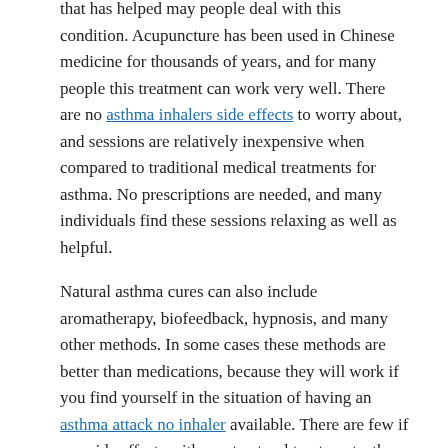that has helped may people deal with this condition. Acupuncture has been used in Chinese medicine for thousands of years, and for many people this treatment can work very well. There are no asthma inhalers side effects to worry about, and sessions are relatively inexpensive when compared to traditional medical treatments for asthma. No prescriptions are needed, and many individuals find these sessions relaxing as well as helpful.
Natural asthma cures can also include aromatherapy, biofeedback, hypnosis, and many other methods. In some cases these methods are better than medications, because they will work if you find yourself in the situation of having an asthma attack no inhaler available. There are few if any side effects with most natural treatments, they are relatively inexpensive, and there is a wide range of options available. If one treatment method does not work then try another, until you find one that does.
[Figure (infographic): Social sharing bar with Facebook (0), Pinterest (0), LinkedIn (0), Twitter, email, and share icons]
asthma attack no inhaler, asthma inhalers side effects, breathing exercises for asthma, brittle asthma, natural asthma cures